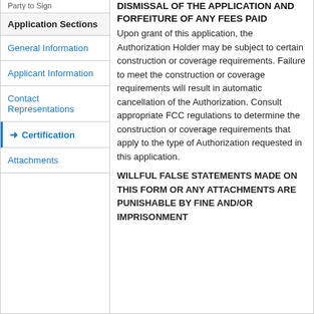Application Sections
General Information
Applicant Information
Contact Representations
Certification
Attachments
DISMISSAL OF THE APPLICATION AND FORFEITURE OF ANY FEES PAID
Upon grant of this application, the Authorization Holder may be subject to certain construction or coverage requirements. Failure to meet the construction or coverage requirements will result in automatic cancellation of the Authorization. Consult appropriate FCC regulations to determine the construction or coverage requirements that apply to the type of Authorization requested in this application.
WILLFUL FALSE STATEMENTS MADE ON THIS FORM OR ANY ATTACHMENTS ARE PUNISHABLE BY FINE AND/OR IMPRISONMENT